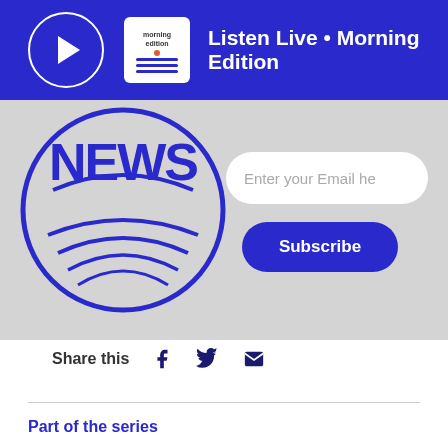Listen Live • Morning Edition
[Figure (screenshot): NPR News circular logo partially visible on grey subscription banner background with email input field and Subscribe button]
Enter your Email he
Subscribe
Share this
Part of the series
Coronavirus Pandemic
View the series